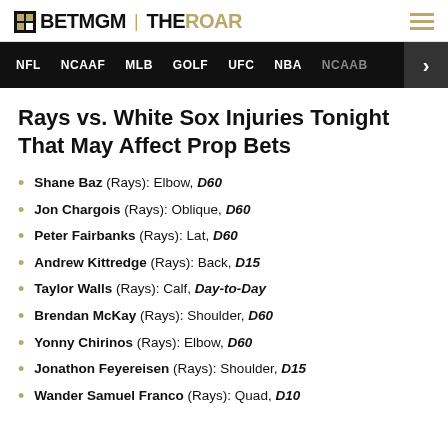BETMGM | THEROAR
NFL  NCAAF  MLB  GOLF  UFC  NBA  NCAAB
Rays vs. White Sox Injuries Tonight That May Affect Prop Bets
Shane Baz (Rays): Elbow, D60
Jon Chargois (Rays): Oblique, D60
Peter Fairbanks (Rays): Lat, D60
Andrew Kittredge (Rays): Back, D15
Taylor Walls (Rays): Calf, Day-to-Day
Brendan McKay (Rays): Shoulder, D60
Yonny Chirinos (Rays): Elbow, D60
Jonathon Feyereisen (Rays): Shoulder, D15
Wander Samuel Franco (Rays): Quad, D10